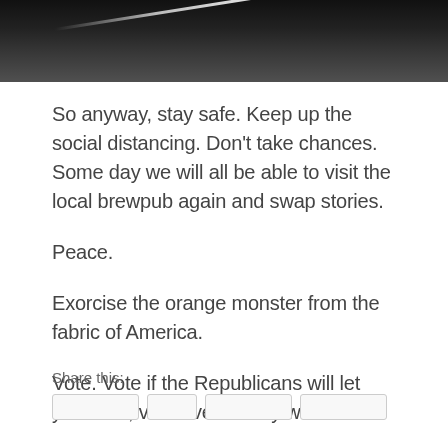[Figure (photo): Black and white photo showing a dark road or highway with a diagonal white line, cropped at the top of the page]
So anyway, stay safe. Keep up the social distancing. Don’t take chances. Some day we will all be able to visit the local brewpub again and swap stories.
Peace.
Exorcise the orange monster from the fabric of America.
Vote. Vote if the Republicans will let you. Hell, vote even if they won’t.
Share this: